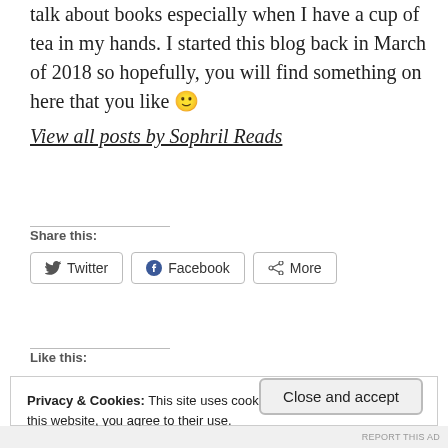talk about books especially when I have a cup of tea in my hands. I started this blog back in March of 2018 so hopefully, you will find something on here that you like 🙂 View all posts by Sophril Reads
Share this:
[Figure (screenshot): Share buttons: Twitter, Facebook, More]
Like this:
Privacy & Cookies: This site uses cookies. By continuing to use this website, you agree to their use.
To find out more, including how to control cookies, see here:
Cookie Policy
Close and accept
REPORT THIS AD